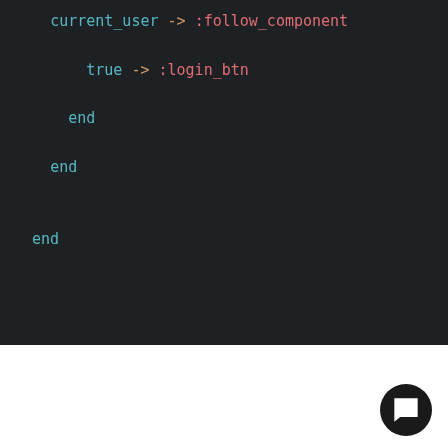[Figure (screenshot): Dark-themed code editor screenshot showing Elixir/Phoenix code with 'current_user -> :follow_component', 'true -> :login_btn', and nested 'end' keywords in cyan and pink syntax highlighting]
Update
lib/instagram_clone_web/live/user_live_ile.html.leex: